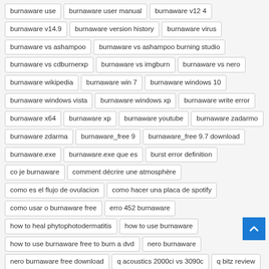burnaware use | burnaware user manual | burnaware v12 4 | burnaware v14.9 | burnaware version history | burnaware virus | burnaware vs ashampoo | burnaware vs ashampoo burning studio | burnaware vs cdburnerxp | burnaware vs imgburn | burnaware vs nero | burnaware wikipedia | burnaware win 7 | burnaware windows 10 | burnaware windows vista | burnaware windows xp | burnaware write error | burnaware x64 | burnaware xp | burnaware youtube | burnaware zadarmo | burnaware zdarma | burnaware_free 9 | burnaware_free 9.7 download | burnaware.exe | burnaware.exe que es | burst error definition | co je burnaware | comment décrire une atmosphère | como es el flujo de ovulacion | como hacer una placa de spotify | como usar o burnaware free | erro 452 burnaware | how to heal phytophotodermatitis | how to use burnaware | how to use burnaware free to burn a dvd | nero burnaware | nero burnaware free download | q acoustics 2000ci vs 3090c | q bitz review | que es mocion de censura | que es una mocion de